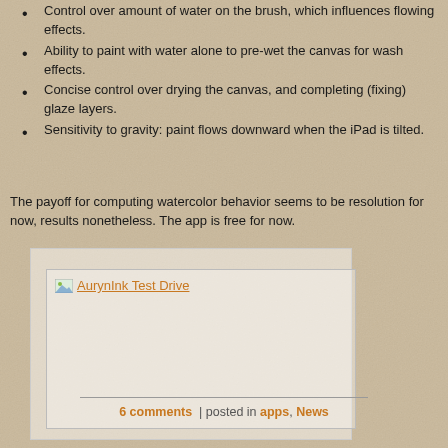Control over amount of water on the brush, which influences effects.
Ability to paint with water alone to pre-wet the canvas for wash effects.
Concise control over drying the canvas, and completing (fixing) glaze layers.
Sensitivity to gravity: paint flows downward when the iPad is tilted.
The payoff for computing watercolor behavior seems to be resolution for now, results nonetheless. The app is free for now.
[Figure (screenshot): AurynInk Test Drive image link placeholder within a light box container]
6 comments | posted in apps, News